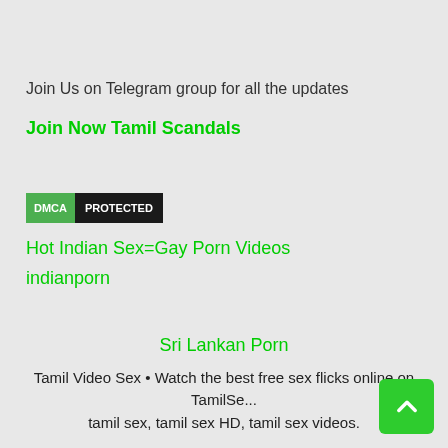Join Us on Telegram group for all the updates
Join Now Tamil Scandals
[Figure (other): DMCA PROTECTED badge with green DMCA label and dark PROTECTED label]
Hot Indian Sex=Gay Porn Videos indianporn
Sri Lankan Porn
Tamil Sex Sites
Tamil Video Sex • Watch the best free sex flicks online on TamilSe... tamil sex, tamil sex HD, tamil sex videos.